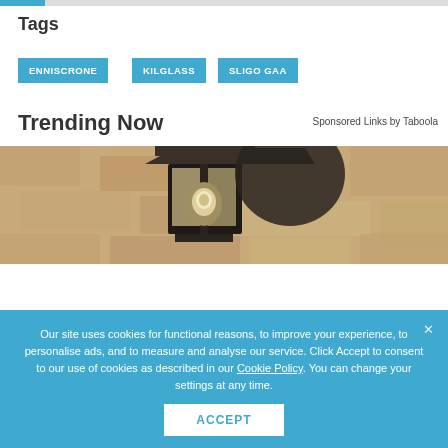[Figure (other): Progress bar at top of page, partially filled in blue]
Tags
ENNISCRONE
KILGLASS
SLIGO GAA
Trending Now
Sponsored Links by Taboola
[Figure (photo): Photo of a black outdoor wall lantern/lamp fixture mounted on a textured stone wall]
Our site uses cookies for functional reasons, to improve your experience, to personalise ads, and to measure and analyse our service. Click Accept to consent to our use of cookies as described in our Cookie Policy. You can change your settings at any time.
ACCEPT